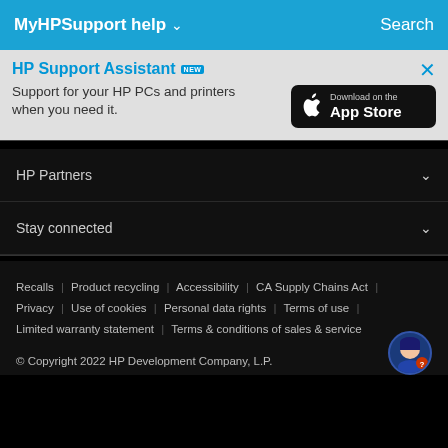MyHPSupport help ∨   Search
HP Support Assistant NEW
Support for your HP PCs and printers when you need it.
[Figure (logo): Download on the App Store button]
HP Partners
Stay connected
Recalls | Product recycling | Accessibility | CA Supply Chains Act | Privacy | Use of cookies | Personal data rights | Terms of use | Limited warranty statement | Terms & conditions of sales & service
© Copyright 2022 HP Development Company, L.P.